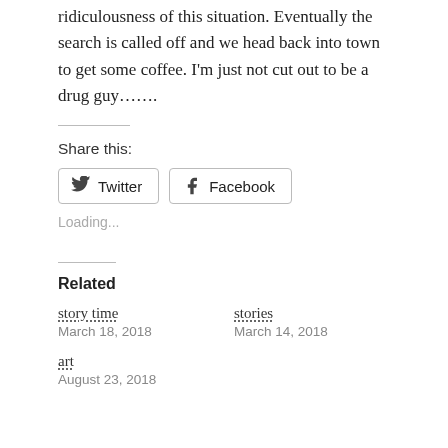ridiculousness of this situation. Eventually the search is called off and we head back into town to get some coffee. I'm just not cut out to be a drug guy…….
Share this:
[Figure (other): Twitter and Facebook share buttons]
Loading...
Related
story time
March 18, 2018
stories
March 14, 2018
art
August 23, 2018